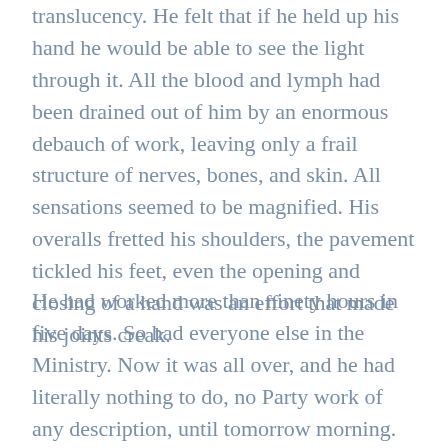translucency. He felt that if he held up his hand he would be able to see the light through it. All the blood and lymph had been drained out of him by an enormous debauch of work, leaving only a frail structure of nerves, bones, and skin. All sensations seemed to be magnified. His overalls fretted his shoulders, the pavement tickled his feet, even the opening and closing of a hand was an effort that made his joints creak.
He had worked more than ninety hours in five days. So had everyone else in the Ministry. Now it was all over, and he had literally nothing to do, no Party work of any description, until tomorrow morning. He could spend six hours in the hiding-place and another nine in his own bed. Slowly, in mild afternoon sunshine, he walked up a dingy street in the direction of Mr Charrington's